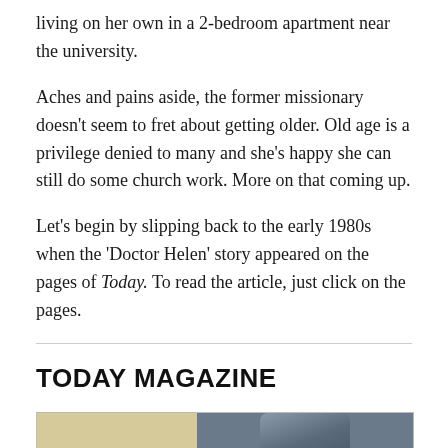living on her own in a 2-bedroom apartment near the university.
Aches and pains aside, the former missionary doesn't seem to fret about getting older. Old age is a privilege denied to many and she's happy she can still do some church work. More on that coming up.
Let's begin by slipping back to the early 1980s when the 'Doctor Helen' story appeared on the pages of Today. To read the article, just click on the pages.
TODAY MAGAZINE
[Figure (photo): Partial view of a Today Magazine page showing the word 'Doctor' in old-style serif font on a beige background, alongside a dark toned photograph of a person's face.]